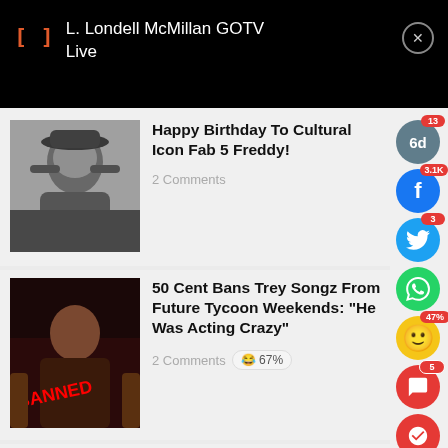[Figure (screenshot): Notification bar showing L. Londell McMillan GOTV Live with close button on black background]
[Figure (photo): Black and white photo of Fab 5 Freddy in a hat]
Happy Birthday To Cultural Icon Fab 5 Freddy!
2 Comments
[Figure (photo): Photo of 50 Cent with BANNED text in red]
50 Cent Bans Trey Songz From Future Tycoon Weekends: "He Was Acting Crazy"
2 Comments  😂 67%
[Figure (photo): Partial photo for Ari Lennox article with colorful background]
Ari Lennox Announces New